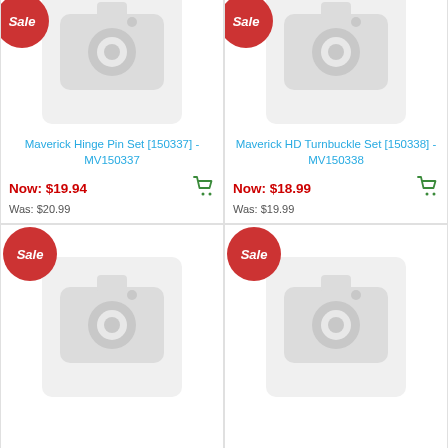[Figure (photo): Camera placeholder image for Maverick Hinge Pin Set product (top-left, cropped at top)]
Maverick Hinge Pin Set [150337] - MV150337
Now: $19.94
Was: $20.99
[Figure (photo): Camera placeholder image for Maverick HD Turnbuckle Set product (top-right, cropped at top)]
Maverick HD Turnbuckle Set [150338] - MV150338
Now: $18.99
Was: $19.99
[Figure (photo): Camera placeholder image for bottom-left product with Sale badge]
[Figure (photo): Camera placeholder image for bottom-right product with Sale badge]